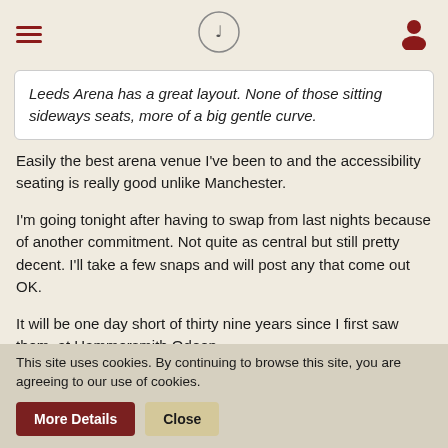Navigation header with hamburger menu, site logo, and user icon
Leeds Arena has a great layout. None of those sitting sideways seats, more of a big gentle curve.
Easily the best arena venue I've been to and the accessibility seating is really good unlike Manchester.
I'm going tonight after having to swap from last nights because of another commitment. Not quite as central but still pretty decent. I'll take a few snaps and will post any that come out OK.
It will be one day short of thirty nine years since I first saw them, at Hammersmith Odeon.
StaggerLee
This site uses cookies. By continuing to browse this site, you are agreeing to our use of cookies.
More Details
Close